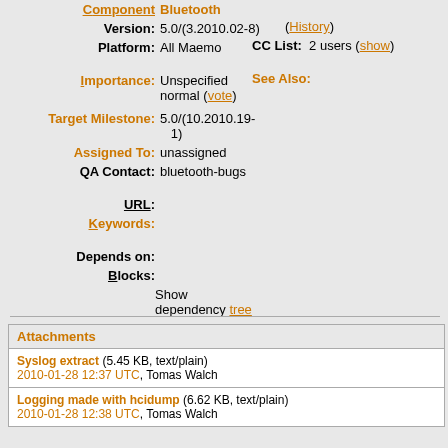Component: Bluetooth
Version: 5.0/(3.2010.02-8)
(History)
Platform: All Maemo
CC List: 2 users (show)
Importance: Unspecified normal (vote)
See Also:
Target Milestone: 5.0/(10.2010.19-1)
Assigned To: unassigned
QA Contact: bluetooth-bugs
URL:
Keywords:
Depends on:
Blocks:
Show dependency tree
Attachments
Syslog extract (5.45 KB, text/plain) 2010-01-28 12:37 UTC, Tomas Walch
Logging made with hcidump (6.62 KB, text/plain) 2010-01-28 12:38 UTC, Tomas Walch